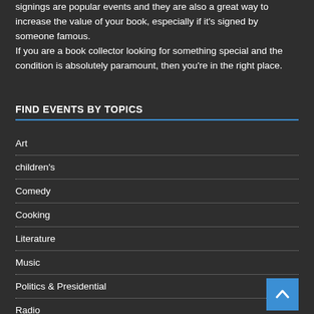signings are popular events and they are also a great way to increase the value of your book, especially if it's signed by someone famous.
If you are a book collector looking for something special and the condition is absolutely paramount, then you're in the right place.
FIND EVENTS BY TOPICS
Art
children's
Comedy
Cooking
Literature
Music
Politics & Presidential
Radio
Sports